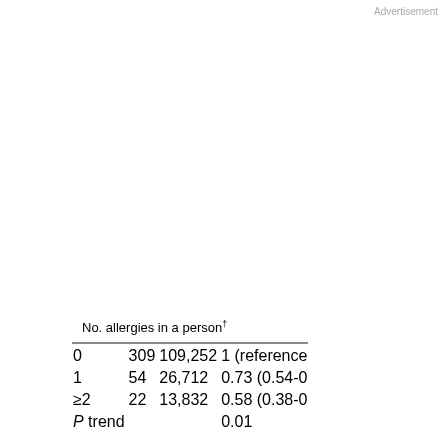Advertisement
| No. allergies in a person† |  |  |  |
| --- | --- | --- | --- |
| 0 | 309 | 109,252 | 1 (reference |
| 1 | 54 | 26,712 | 0.73 (0.54-0 |
| ≥2 | 22 | 13,832 | 0.58 (0.38-0 |
| P trend |  |  | 0.01 |
* Adjusted for age, pack-years, total energy intake, calcium, red meat, NDT, vegetables, and diabetes
† For this analysis, only women who answered all four specific allergy questions were included.
This site uses cookies. By continuing to use our website, you are agreeing to our privacy policy. Accept